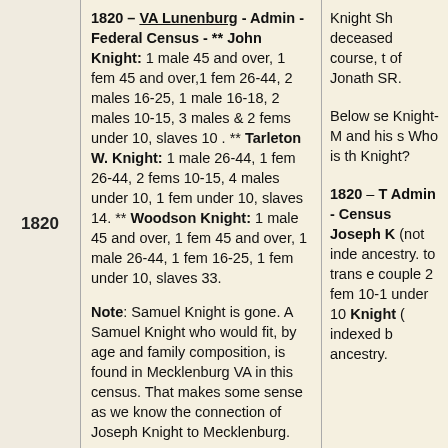1820
1820 – VA Lunenburg - Admin - Federal Census - ** John Knight: 1 male 45 and over, 1 fem 45 and over,1 fem 26-44, 2 males 16-25, 1 male 16-18, 2 males 10-15, 3 males & 2 fems under 10, slaves 10 . ** Tarleton W. Knight: 1 male 26-44, 1 fem 26-44, 2 fems 10-15, 4 males under 10, 1 fem under 10, slaves 14. ** Woodson Knight: 1 male 45 and over, 1 fem 45 and over, 1 male 26-44, 1 fem 16-25, 1 fem under 10, slaves 33.
Note: Samuel Knight is gone. A Samuel Knight who would fit, by age and family composition, is found in Mecklenburg VA in this census. That makes some sense as we know the connection of Joseph Knight to Mecklenburg.
Knight Sh deceased course, t of Jonath SR.
Below se Knight-M and his s Who is th Knight?
1820 – T Admin - Census Joseph K (not inde ancestry. to trans e couple 2 fem 10-1 under 10 Knight ( indexed b ancestry.